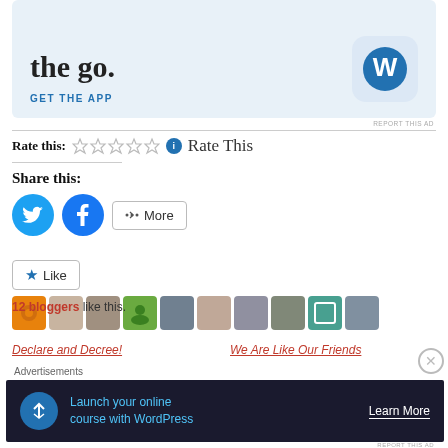[Figure (screenshot): Top advertisement banner with WordPress logo, 'GET THE APP' text, and blue background]
REPORT THIS AD
Rate this: ☆☆☆☆☆ ℹ Rate This
Share this:
[Figure (screenshot): Twitter, Facebook, and More share buttons]
[Figure (screenshot): Like button with 10 blogger avatar thumbnails]
12 bloggers like this.
Declare and Decree!
We Are Like Our Friends
Advertisements
[Figure (screenshot): Bottom advertisement: Launch your online course with WordPress - Learn More]